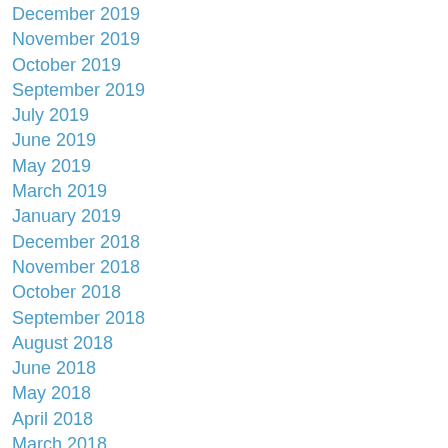December 2019
November 2019
October 2019
September 2019
July 2019
June 2019
May 2019
March 2019
January 2019
December 2018
November 2018
October 2018
September 2018
August 2018
June 2018
May 2018
April 2018
March 2018
February 2018
January 2018
December 2017